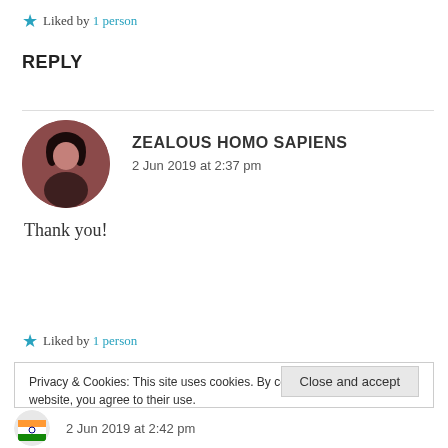Liked by 1 person
REPLY
[Figure (photo): Circular avatar photo of a person with dark hair against a brownish-red background]
ZEALOUS HOMO SAPIENS
2 Jun 2019 at 2:37 pm
Thank you!
Liked by 1 person
Privacy & Cookies: This site uses cookies. By continuing to use this website, you agree to their use.
To find out more, including how to control cookies, see here: Cookie Policy
Close and accept
2 Jun 2019 at 2:42 pm